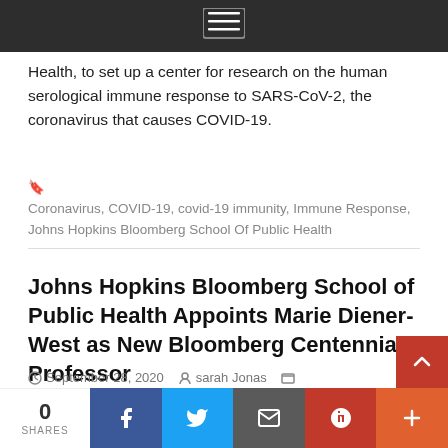[Figure (screenshot): Dark navigation bar with hamburger menu icon in the center]
Health, to set up a center for research on the human serological immune response to SARS-CoV-2, the coronavirus that causes COVID-19.
Coronavirus, COVID-19, covid-19 immunity, Immune Response, Johns Hopkins Bloomberg School Of Public Health
Johns Hopkins Bloomberg School of Public Health Appoints Marie Diener-West as New Bloomberg Centennial Professor
September 28, 2020   sarah Jonas   Announcement
[Figure (infographic): Social share bar with 0 shares, Facebook, Twitter, Email, Pinterest, and More buttons]